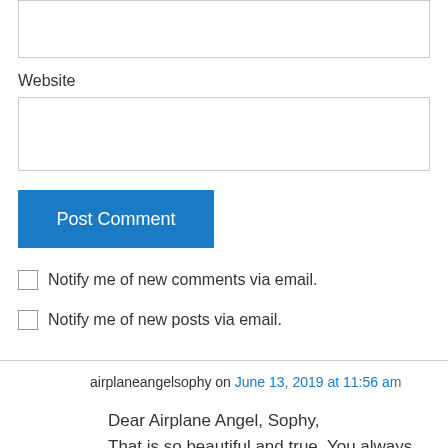Website
Post Comment
Notify me of new comments via email.
Notify me of new posts via email.
airplaneangelsophy on June 13, 2019 at 11:56 am
Dear Airplane Angel, Sophy,
That is so beautiful and true. You always get my mind and soul.